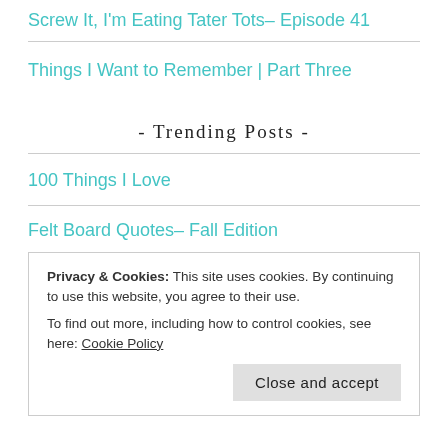Screw It, I'm Eating Tater Tots– Episode 41
Things I Want to Remember | Part Three
- Trending Posts -
100 Things I Love
Felt Board Quotes– Fall Edition
Dill Pickle and Ham Dip is the Best Thing Since Dill Pickle
Privacy & Cookies: This site uses cookies. By continuing to use this website, you agree to their use.
To find out more, including how to control cookies, see here: Cookie Policy
I Got Inside The Breakfast Club High School and Lived to